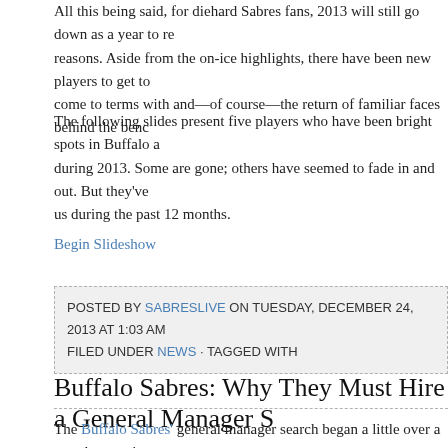All this being said, for diehard Sabres fans, 2013 will still go down as a year to remember for many reasons. Aside from the on-ice highlights, there have been new players to get to know, new faces to come to terms with and—of course—the return of familiar faces behind the bench.
The following slides present five players who have been bright spots in Buffalo a during 2013. Some are gone; others have seemed to fade in and out. But they've us during the past 12 months.
Begin Slideshow
POSTED BY SABRESLIVE ON TUESDAY, DECEMBER 24, 2013 AT 1:03 AM
FILED UNDER NEWS · TAGGED WITH
Buffalo Sabres: Why They Must Hire a General Manager S
The Buffalo Sabres' general manager search began a little over a month ago with President of Hockey Operations Pat LaFontaine and the relatively unceremonious
LaFontaine said that he was not cut out to be the new GM and that a formal search would begin within days, which is exactly what happened.
There were murmurs around the internet of LaFontaine being granted permission of assistant GMs around the league, including Jason Botterill (Pittsburgh), Jim B